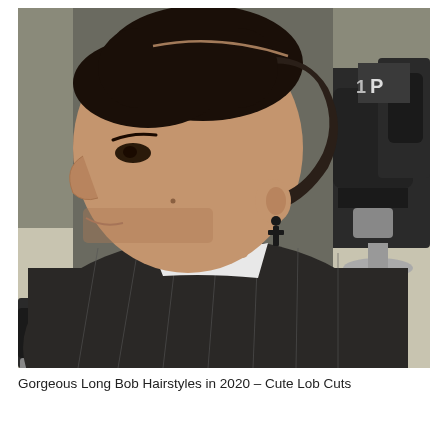[Figure (photo): A man sitting in a barber chair viewed from the side, wearing a black barber cape with white pinstripes and a white collar. He has a short fade haircut with a razor part line on the side, and wears a black cross earring. The barber shop is visible in the background with black barber chairs and tiled floor.]
Gorgeous Long Bob Hairstyles in 2020 – Cute Lob Cuts